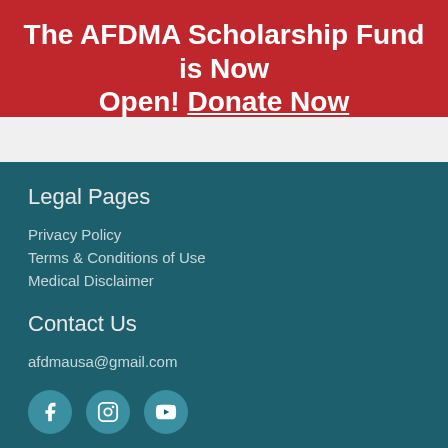The AFDMA Scholarship Fund is Now Open! Donate Now
Legal Pages
Privacy Policy
Terms & Conditions of Use
Medical Disclaimer
Contact Us
afdmausa@gmail.com
[Figure (illustration): Social media icons: Facebook, Instagram, YouTube]